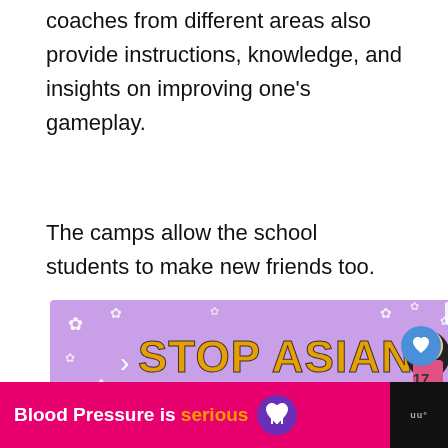coaches from different areas also provide instructions, knowledge, and insights on improving one's gameplay.
The camps allow the school students to make new friends too.
[Figure (infographic): Stop Asian Hate advertisement banner with purple background, white flower decorations, bold orange text 'STOP ASIAN HATE', and an illustrated Asian woman character. Has a close (X) button.]
[Figure (infographic): Blood Pressure is serious advertisement banner with hot pink background, white bold text 'Blood Pressure is', orange text 'serious', and a purple heart logo icon. Website logo on black right panel.]